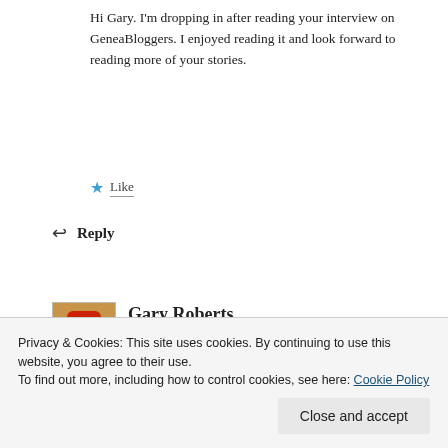Hi Gary. I'm dropping in after reading your interview on GeneaBloggers. I enjoyed reading it and look forward to reading more of your stories.
★ Like
↩ Reply
Gary Roberts
SEPTEMBER 21, 2016 AT 5:44 PM
Privacy & Cookies: This site uses cookies. By continuing to use this website, you agree to their use.
To find out more, including how to control cookies, see here: Cookie Policy
Close and accept